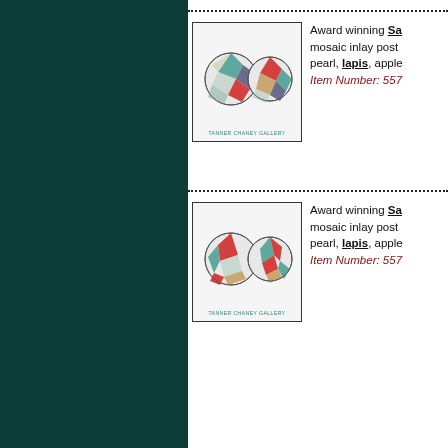[Figure (photo): Two round mosaic inlay earrings on white card with Tanner Chaney Gallery label, first item]
Award winning Sa... mosaic inlay post... pearl, lapis, apple... Item Number: 557...
[Figure (photo): Two round mosaic inlay earrings on white card with Tanner Chaney Gallery label, second item]
Award winning Sa... mosaic inlay post... pearl, lapis, apple... Item Number: 557...